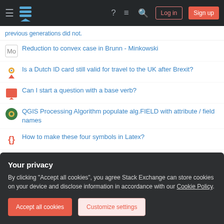Stack Exchange navigation bar with Log in and Sign up buttons
previous generations did not.
Reduction to convex case in Brunn - Minkowski
Is a Dutch ID card still valid for travel to the UK after Brexit?
Can I start a question with a base verb?
QGIS Processing Algorithm populate alg.FIELD with attribute / field names
How to make these four symbols in Latex?
__________ Norma Jean had reached the age of twenty-six, her beautiful face and body earned her a place as one of America's leading movie stars
Workbench Leg Spacing
Your privacy
By clicking "Accept all cookies", you agree Stack Exchange can store cookies on your device and disclose information in accordance with our Cookie Policy.